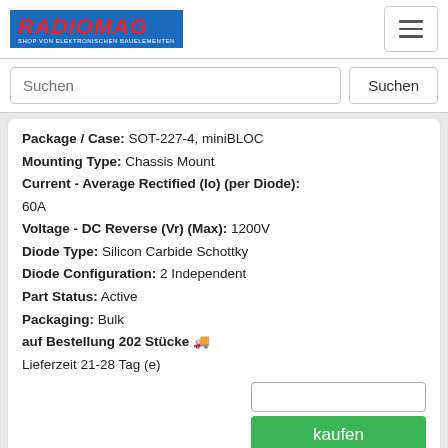[Figure (logo): Radiomag logo - blue background with red italic text RADIOMAG and white subtitle SHOP VON ELEKTRONISCHEN BAUELEMENTEN]
[Figure (screenshot): Hamburger menu button top right]
Suchen
Package / Case: SOT-227-4, miniBLOC
Mounting Type: Chassis Mount
Current - Average Rectified (Io) (per Diode): 60A
Voltage - DC Reverse (Vr) (Max): 1200V
Diode Type: Silicon Carbide Schottky
Diode Configuration: 2 Independent
Part Status: Active
Packaging: Bulk
auf Bestellung 202 Stücke
Lieferzeit 21-28 Tag (e)
kaufen
APTM10AM02FG
[Figure (photo): Electronic power module APTM10AM02FG - black rectangular module with gold/copper terminals and screw holes, viewed from above]